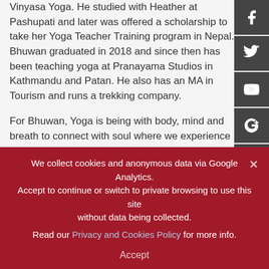Vinyasa Yoga. He studied with Heather at Pashupati and later was offered a scholarship to take her Yoga Teacher Training program in Nepal. Bhuwan graduated in 2018 and since then has been teaching yoga at Pranayama Studios in Kathmandu and Patan. He also has an MA in Tourism and runs a trekking company.
For Bhuwan, Yoga is being with body, mind and breath to connect with soul where we experience infinite light and happiness. His mission is to connect
We collect cookies and anonymous data via Google Analytics. Accept to continue or switch to private browsing to use this site without data being collected. Read our Privacy and Cookies Policy for more info. Accept